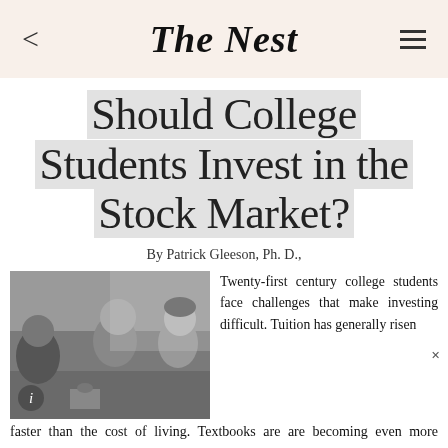The Nest
Should College Students Invest in the Stock Market?
By Patrick Gleeson, Ph. D.,
[Figure (photo): Black and white photo of college students sitting and talking on a couch]
Twenty-first century college students face challenges that make investing difficult. Tuition has generally risen faster than the cost of living. Textbooks are are becoming even more expensive. A good job